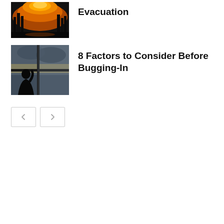[Figure (photo): Wildfire scene with orange glow against dark sky and trees]
Evacuation
[Figure (photo): Silhouette of person looking out window during storm]
8 Factors to Consider Before Bugging-In